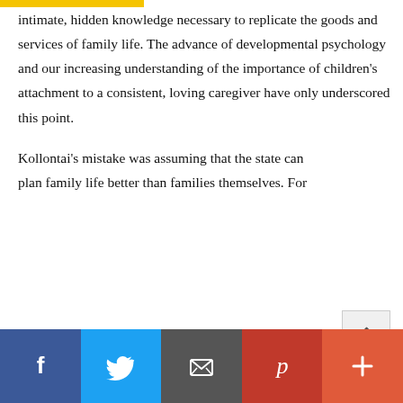intimate, hidden knowledge necessary to replicate the goods and services of family life. The advance of developmental psychology and our increasing understanding of the importance of children's attachment to a consistent, loving caregiver have only underscored this point.
Kollontai's mistake was assuming that the state can plan family life better than families themselves. For
We use cookies on our website to give you the most relevant experience by remembering your preferences and repeat visits. By clicking "Accept All", you consent to the use of ALL the cookies. However, you may visit "Cookie Settings" to provide a controlled consent.
Facebook | Twitter | Email | Pinterest | More